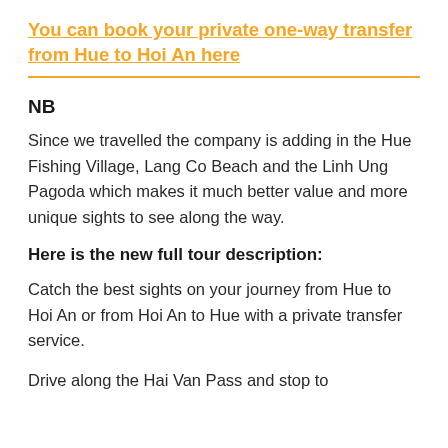You can book your private one-way transfer from Hue to Hoi An here
NB
Since we travelled the company is adding in the Hue Fishing Village, Lang Co Beach and the Linh Ung Pagoda which makes it much better value and more unique sights to see along the way.
Here is the new full tour description:
Catch the best sights on your journey from Hue to Hoi An or from Hoi An to Hue with a private transfer service.
Drive along the Hai Van Pass and stop to